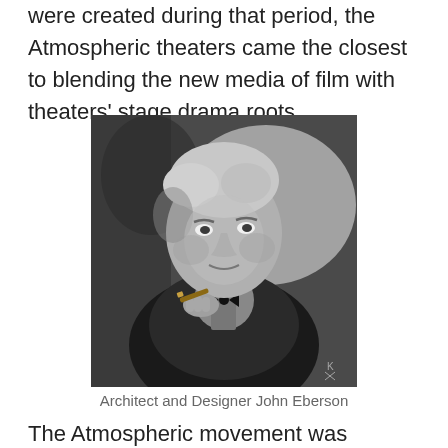were created during that period, the Atmospheric theaters came the closest to blending the new media of film with theaters' stage drama roots.
[Figure (photo): Black and white portrait photograph of Architect and Designer John Eberson, an older man with light grey hair, holding a cigar, wearing a dark suit and bow tie, leaning forward slightly.]
Architect and Designer John Eberson
The Atmospheric movement was created by John